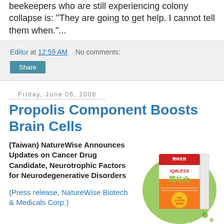beekeepers who are still experiencing colony collapse is: "They are going to get help. I cannot tell them when."...
Editor at 12:59 AM   No comments:
Share
Friday, June 06, 2008
Propolis Component Boosts Brain Cells
(Taiwan) NatureWise Announces Updates on Cancer Drug Candidate, Neurotrophic Factors for Neurodegenerative Disorders
(Press release, NatureWise Biotech & Medicals Corp.)
[Figure (photo): Product box of IQBless (慧祐全) supplement by NatureWise, orange and white packaging with Chinese text, set against a green circular background]